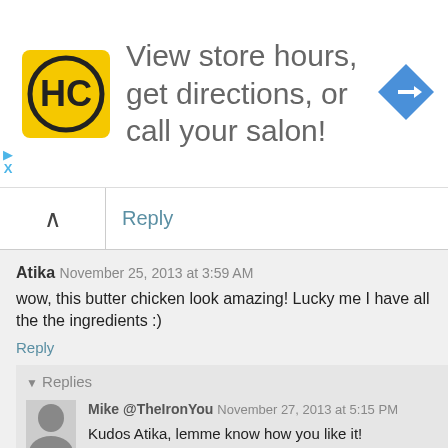[Figure (advertisement): HC salon store advertisement banner with yellow HC logo, text 'View store hours, get directions, or call your salon!' and a blue diamond direction arrow icon]
Reply
Atika November 25, 2013 at 3:59 AM
wow, this butter chicken look amazing! Lucky me I have all the the ingredients :)
Reply
▾ Replies
Mike @TheIronYou November 27, 2013 at 5:15 PM
Kudos Atika, lemme know how you like it!